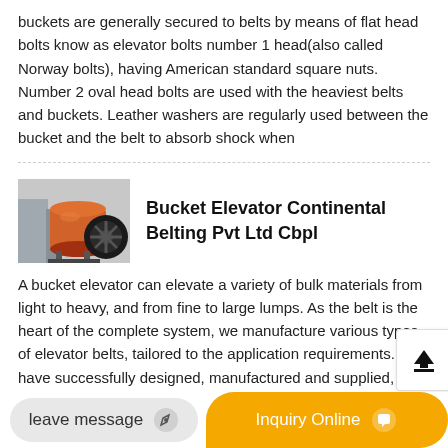buckets are generally secured to belts by means of flat head bolts know as elevator bolts number 1 head(also called Norway bolts), having American standard square nuts. Number 2 oval head bolts are used with the heaviest belts and buckets. Leather washers are regularly used between the bucket and the belt to absorb shock when
Bucket Elevator Continental Belting Pvt Ltd Cbpl
[Figure (photo): Industrial machinery photo showing an orange cylindrical drum/barrel with a large black gear or wheel attached, likely part of a bucket elevator or conveyor system, set against a light background with industrial structures.]
A bucket elevator can elevate a variety of bulk materials from light to heavy, and from fine to large lumps. As the belt is the heart of the complete system, we manufacture various types of elevator belts, tailored to the application requirements. We have successfully designed, manufactured and supplied, elevator belts for over 100m...